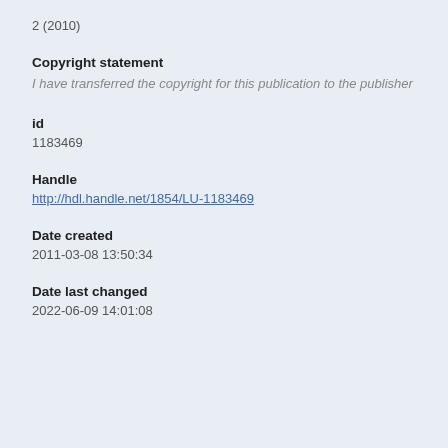2 (2010)
Copyright statement
I have transferred the copyright for this publication to the publisher
id
1183469
Handle
http://hdl.handle.net/1854/LU-1183469
Date created
2011-03-08 13:50:34
Date last changed
2022-06-09 14:01:08